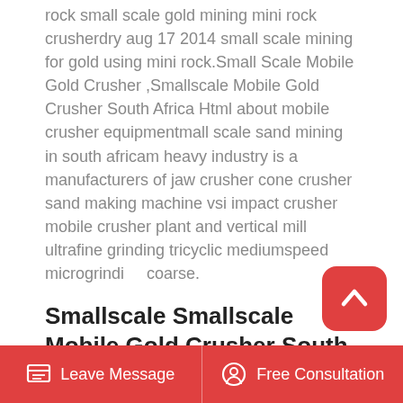rock small scale gold mining mini rock crusherdry aug 17 2014 small scale mining for gold using mini rock.Small Scale Mobile Gold Crusher ,Smallscale Mobile Gold Crusher South Africa Html about mobile crusher equipmentmall scale sand mining in south africam heavy industry is a manufacturers of jaw crusher cone crusher sand making machine vsi impact crusher mobile crusher plant and vertical mill ultrafine grinding tricyclic mediumspeed microgrinding coarse.
Smallscale Smallscale Mobile Gold Crusher South Africa
Smallscale Mobile Gold Crusher. 2020-5-20Smallscale mobile gold crusher south africa Used small gold processing plant for sale in
Leave Message   Free Consultation